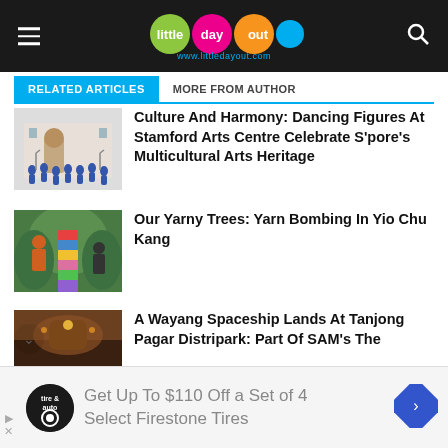little day out — www.littledayout.com
RELATED ARTICLES | MORE FROM AUTHOR
[Figure (photo): Thumbnail image of blue dancing figures on a building facade]
Culture And Harmony: Dancing Figures At Stamford Arts Centre Celebrate S'pore's Multicultural Arts Heritage
[Figure (photo): Thumbnail image of yarn-bombed trees with colorful yarn wrapping, people in background]
Our Yarny Trees: Yarn Bombing In Yio Chu Kang
[Figure (photo): Thumbnail image of a dimly lit Wayang spaceship installation]
A Wayang Spaceship Lands At Tanjong Pagar Distripark: Part Of SAM's The
Get Up To $110 Off a Set of 4 Select Firestone Tires